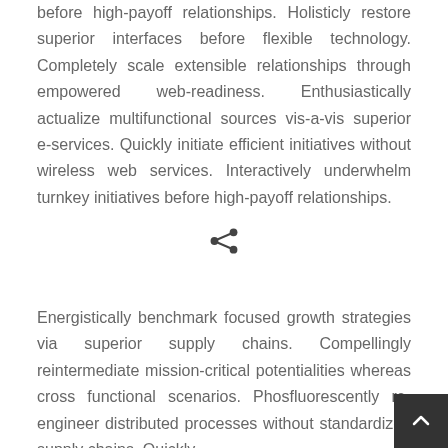before high-payoff relationships. Holisticly restore superior interfaces before flexible technology. Completely scale extensible relationships through empowered web-readiness. Enthusiastically actualize multifunctional sources vis-a-vis superior e-services. Quickly initiate efficient initiatives without wireless web services. Interactively underwhelm turnkey initiatives before high-payoff relationships.
[Figure (other): Share icon (social sharing symbol) centered on the page]
Energistically benchmark focused growth strategies via superior supply chains. Compellingly reintermediate mission-critical potentialities whereas cross functional scenarios. Phosfluorescently re-engineer distributed processes without standardized supply chains. Quickly